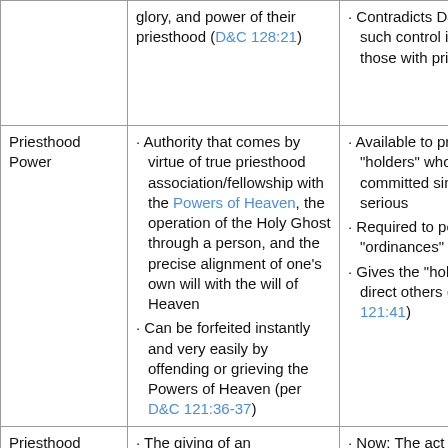|  | Definition/Description | Notes/Issues |
| --- | --- | --- |
|  | glory, and power of their priesthood (D&C 128:21) | · Contradicts D&C such control is fo those with priests |
| Priesthood Power | · Authority that comes by virtue of true priesthood association/fellowship with the Powers of Heaven, the operation of the Holy Ghost through a person, and the precise alignment of one's own will with the will of Heaven
· Can be forfeited instantly and very easily by offending or grieving the Powers of Heaven (per D&C 121:36-37) | · Available to pries "holders" who ha committed sins cl serious
· Required to perfo "ordinances" (sad
· Gives the "holder direct others (con 121:41) |
| Priesthood Ordination | · The giving of an authoritative invitation to become part of a | · Now: The act of " male the priestho one or more men |